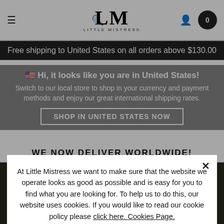LM LITTLE MISTRESS
Free shipping to United States on all orders above $130.00
🇺🇸 Hi, it looks like you are in United States! Switch to our local store to shop in your currency and payment methods and enjoy our great international shipping rates. SHOP IN UNITED STATES NOW
WE NOW DELIVER WORLDWIDE!
At Little Mistress we want to make sure that the website we operate looks as good as possible and is easy for you to find what you are looking for. To help us to do this, our website uses cookies. If you would like to read our cookie policy please click here. Cookies Page.
ACCEPT COOKIES